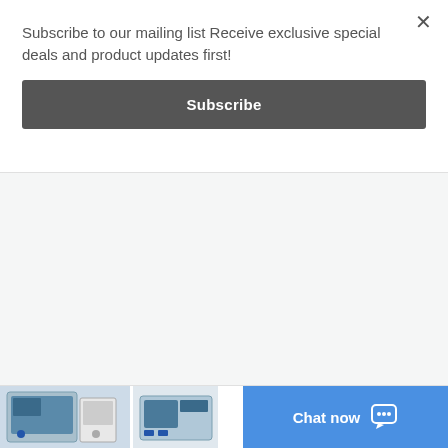Subscribe to our mailing list Receive exclusive special deals and product updates first!
Subscribe
[Figure (screenshot): Website page content area (white/grey background, mostly blank)]
[Figure (screenshot): Product thumbnail images at bottom left showing security panel hardware]
Chat now